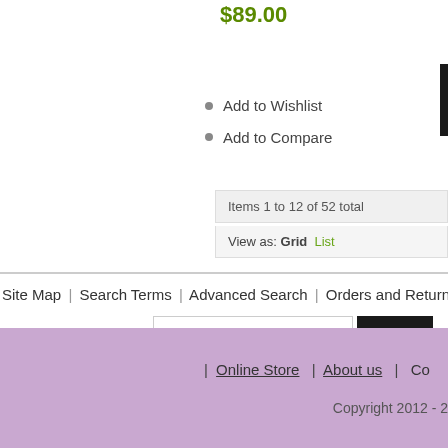$89.00
ADD TO CART
Add to Wishlist
Add to Compare
Items 1 to 12 of 52 total
View as: Grid  List
Site Map | Search Terms | Advanced Search | Orders and Returns
Newsletter Sign-up: [Enter your email address] SUBMIT
| Online Store  | About us  | Co...
Copyright 2012 - 2